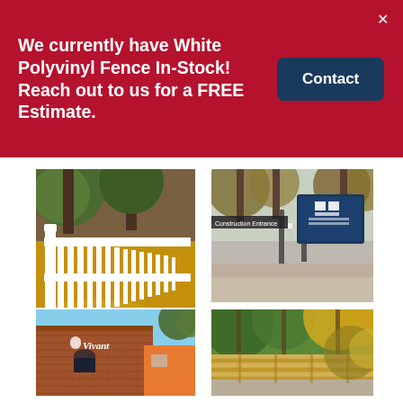We currently have White Polyvinyl Fence In-Stock! Reach out to us for a FREE Estimate.
Contact
[Figure (photo): White polyvinyl fence railing with autumn yellow leaves on ground]
[Figure (photo): Construction entrance sign area with blue sign and trees in autumn]
[Figure (photo): Brick building exterior with Vivant signage]
[Figure (photo): Horizontal wooden fence panels with autumn trees overhead]